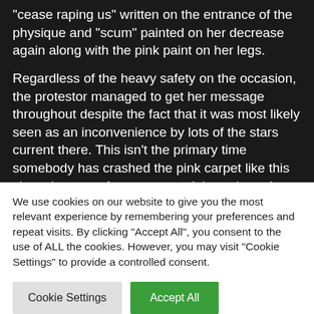“cease raping us” written on the entrance of the physique and “scum” painted on her decrease again along with the pink paint on her legs.
Regardless of the heavy safety on the occasion, the protestor managed to get her message throughout despite the fact that it was most likely seen as an inconvenience by lots of the stars current there. This isn’t the primary time somebody has crashed the pink carpet like this since the same factor occurred throughout the 2014 version however that
We use cookies on our website to give you the most relevant experience by remembering your preferences and repeat visits. By clicking “Accept All”, you consent to the use of ALL the cookies. However, you may visit "Cookie Settings" to provide a controlled consent.